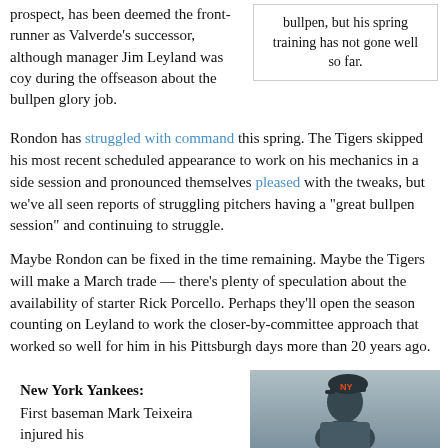prospect, has been deemed the front-runner as Valverde's successor, although manager Jim Leyland was coy during the offseason about the bullpen glory job.
bullpen, but his spring training has not gone well so far.
Rondon has struggled with command this spring. The Tigers skipped his most recent scheduled appearance to work on his mechanics in a side session and pronounced themselves pleased with the tweaks, but we've all seen reports of struggling pitchers having a "great bullpen session" and continuing to struggle.
Maybe Rondon can be fixed in the time remaining. Maybe the Tigers will make a March trade — there's plenty of speculation about the availability of starter Rick Porcello. Perhaps they'll open the season counting on Leyland to work the closer-by-committee approach that worked so well for him in his Pittsburgh days more than 20 years ago.
New York Yankees:
First baseman Mark Teixeira injured his
[Figure (photo): Photo of a baseball player wearing a cap with logo, partial view]